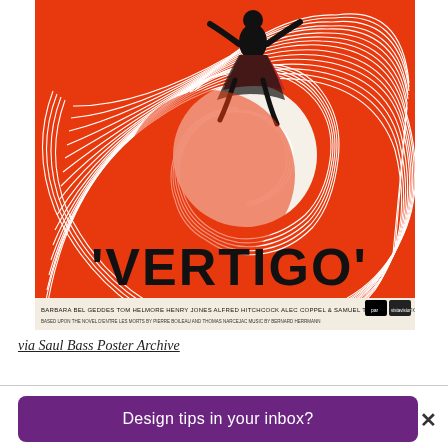[Figure (illustration): Vertigo movie poster by Saul Bass. Red and white background with swirling spiral lines. Silhouette of a falling figure in black over an orange/red background. Text at the bottom reads 'VERTIGO' in large bold black letters. Credits at the very bottom include Barbara Bel Geddes, Bill, Tom Helmore, Henry Jones, Alfred Hitchcock, Alec Coppel & Samuel Taylor, Technicolor.]
via Saul Bass Poster Archive
Design tips in your inbox?